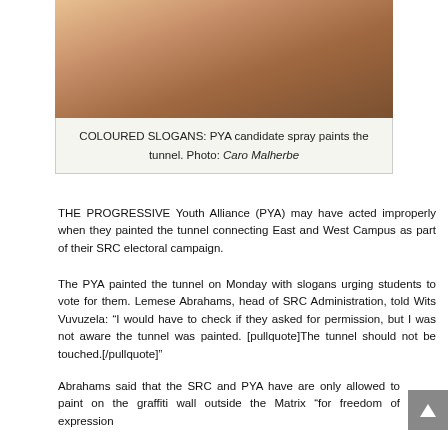[Figure (photo): Top portion of a photo showing a person spray painting in a tunnel, cropped at top of page]
COLOURED SLOGANS: PYA candidate spray paints the tunnel. Photo: Caro Malherbe
THE PROGRESSIVE Youth Alliance (PYA) may have acted improperly when they painted the tunnel connecting East and West Campus as part of their SRC electoral campaign.
The PYA painted the tunnel on Monday with slogans urging students to vote for them. Lemese Abrahams, head of SRC Administration, told Wits Vuvuzela: “I would have to check if they asked for permission, but I was not aware the tunnel was painted. [pullquote]The tunnel should not be touched.[/pullquote]”
Abrahams said that the SRC and PYA have are only allowed to paint on the graffiti wall outside the Matrix “for freedom of expression purposes.” When told the tunnel had been painted with PYA slogans Abrahams said: “I will send someone immediately down to assess the situation. If that is the case, they will have to paint it over.” A representative from the PYA could not be reached for comment.
PYA member Nompendulo Mkatshcwa told Wits Vuvuzela on Monday during the event that the tunnel painting was done “to let students know that the PYA are still here.”
The PYA is made up of youth organisations such as, the South African